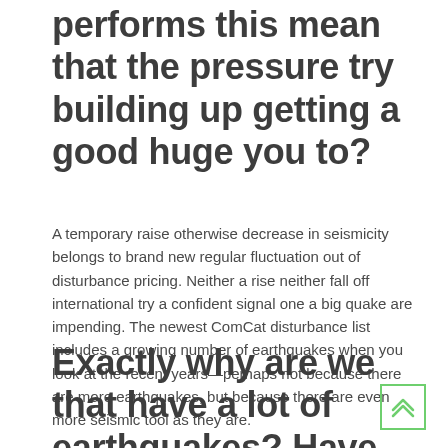performs this mean that the pressure try building up getting a good huge you to?
A temporary raise otherwise decrease in seismicity belongs to brand new regular fluctuation out of disturbance pricing. Neither a rise neither fall off international try a confident signal one a big quake are impending. The newest ComCat disturbance list includes a growing number of earthquakes when you look at the recent years—perhaps not because there are more earthquakes, but because there are even more seismic tool as they are.
Exactly why are we that have a lot of earthquakes? Have natural earthquake activity become growing? Does this